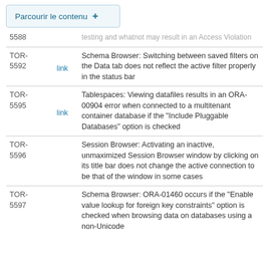Parcourir le contenu +
| ID | Link | Description |
| --- | --- | --- |
| 5588 |  | ...testing and whatnot may result in an Access Violation |
| TOR-5592 | link | Schema Browser: Switching between saved filters on the Data tab does not reflect the active filter properly in the status bar |
| TOR-5595 | link | Tablespaces: Viewing datafiles results in an ORA-00904 error when connected to a multitenant container database if the "Include Pluggable Databases" option is checked |
| TOR-5596 |  | Session Browser: Activating an inactive, unmaximized Session Browser window by clicking on its title bar does not change the active connection to be that of the window in some cases |
| TOR-5597 |  | Schema Browser: ORA-01460 occurs if the "Enable value lookup for foreign key constraints" option is checked when browsing data on databases using a non-Unicode... |